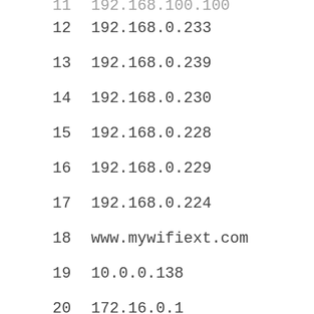11   192.168.100.100
12   192.168.0.233
13   192.168.0.239
14   192.168.0.230
15   192.168.0.228
16   192.168.0.229
17   192.168.0.224
18   www.mywifiext.com
19   10.0.0.138
20   172.16.0.1
21   192.168.0.231
22   192.168.0.234